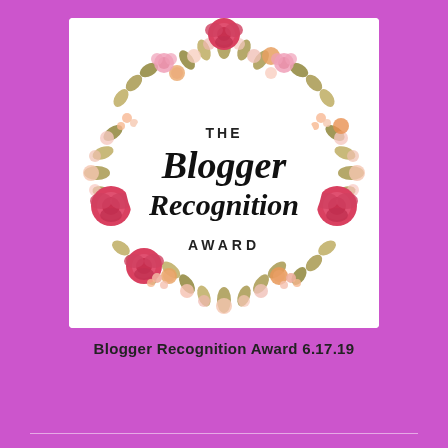[Figure (illustration): A circular floral wreath made of watercolor pink, red, peach, and orange flowers with green leaves, surrounding the text 'THE Blogger Recognition AWARD' on a white background.]
Blogger Recognition Award 6.17.19